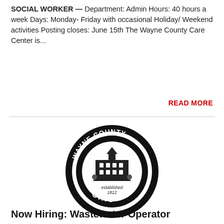SOCIAL WORKER — Department: Admin Hours: 40 hours a week Days: Monday- Friday with occasional Holiday/ Weekend activities Posting closes: June 15th The Wayne County Care Center is...
READ MORE
[Figure (logo): Wayne County Ohio official seal — black circular seal with text 'WAYNE COUNTY' at top and 'OHIO' at bottom, inner circle with illustration of a historic building, and text 'established 1812' below the illustration]
Now Hiring: Wastewater Operator